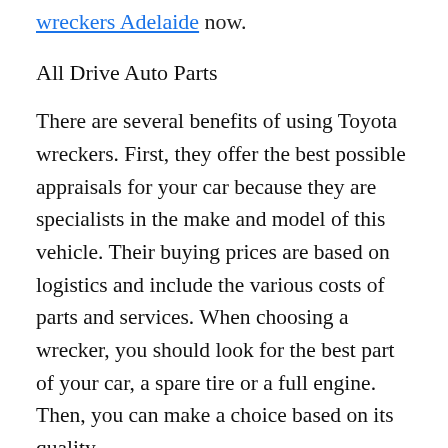wreckers Adelaide now.
All Drive Auto Parts
There are several benefits of using Toyota wreckers. First, they offer the best possible appraisals for your car because they are specialists in the make and model of this vehicle. Their buying prices are based on logistics and include the various costs of parts and services. When choosing a wrecker, you should look for the best part of your car, a spare tire or a full engine. Then, you can make a choice based on its quality.
All Drive Auto Parts specialises in Subaru parts and has a long history of success.